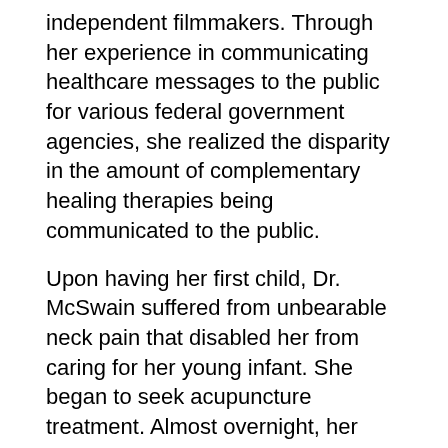independent filmmakers. Through her experience in communicating healthcare messages to the public for various federal government agencies, she realized the disparity in the amount of complementary healing therapies being communicated to the public.
Upon having her first child, Dr. McSwain suffered from unbearable neck pain that disabled her from caring for her young infant. She began to seek acupuncture treatment. Almost overnight, her pain diminished and the experience of healing left an everlasting impression on her. Her life completely changed and the course of her journey transitioned from communicating about healthcare to being an instrument for healing. Dr. McSwain's current clinical practice spans from helping her patients recover and heal from physical/psycho-emotional trauma to spiritual enhancement. She fully believes in supporting her clients on a body, mind, spirit level. Dr. McSwain holds a doctorate degree in Oriental Medicine from Maryland University of Integrative Health